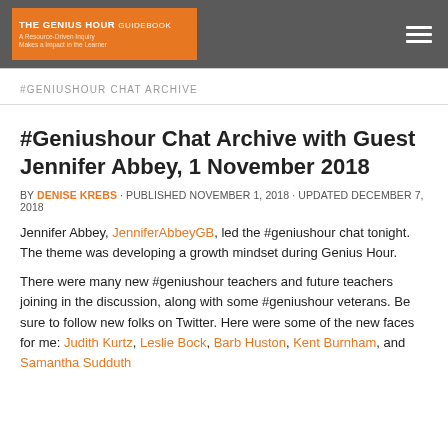THE GENIUS HOUR GUIDEBOOK
#GENIUSHOUR CHAT ARCHIVE
#Geniushour Chat Archive with Guest Jennifer Abbey, 1 November 2018
BY DENISE KREBS · PUBLISHED NOVEMBER 1, 2018 · UPDATED DECEMBER 7, 2018
Jennifer Abbey, JenniferAbbeyGB, led the #geniushour chat tonight. The theme was developing a growth mindset during Genius Hour.
There were many new #geniushour teachers and future teachers joining in the discussion, along with some #geniushour veterans. Be sure to follow new folks on Twitter. Here were some of the new faces for me: Judith Kurtz, Leslie Bock, Barb Huston, Kent Burnham, and Samantha Sudduth